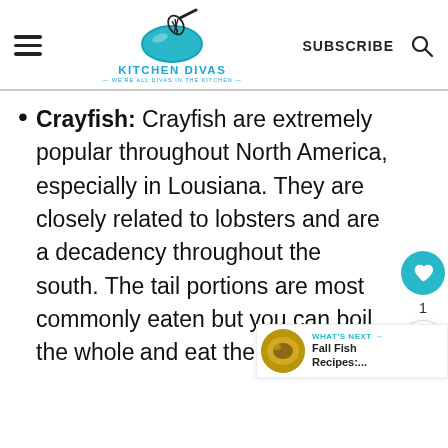KITCHEN DIVAS — WE'RE ALL DIVAS IN THE KITCHEN —
Crayfish: Crayfish are extremely popular throughout North America, especially in Lousiana. They are closely related to lobsters and are a decadency throughout the south. The tail portions are most commonly eaten but you can boil the whole and eat the whole thing.
What's Next → Fall Fish Recipes:....